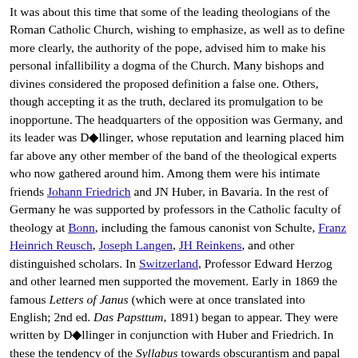It was about this time that some of the leading theologians of the Roman Catholic Church, wishing to emphasize, as well as to define more clearly, the authority of the pope, advised him to make his personal infallibility a dogma of the Church. Many bishops and divines considered the proposed definition a false one. Others, though accepting it as the truth, declared its promulgation to be inopportune. The headquarters of the opposition was Germany, and its leader was D◆llinger, whose reputation and learning placed him far above any other member of the band of the theological experts who now gathered around him. Among them were his intimate friends Johann Friedrich and JN Huber, in Bavaria. In the rest of Germany he was supported by professors in the Catholic faculty of theology at Bonn, including the famous canonist von Schulte, Franz Heinrich Reusch, Joseph Langen, JH Reinkens, and other distinguished scholars. In Switzerland, Professor Edward Herzog and other learned men supported the movement. Early in 1869 the famous Letters of Janus (which were at once translated into English; 2nd ed. Das Papsttum, 1891) began to appear. They were written by D◆llinger in conjunction with Huber and Friedrich. In these the tendency of the Syllabus towards obscurantism and papal despotism, and its incompatibility with modern thought, were clearly pointed out; and the evidence against papal infallibility, resting, as the Letters asserted, on the False Decretals, and accepted without controversy in an age of ignorance, was ably marshalled for the guidance of the council.